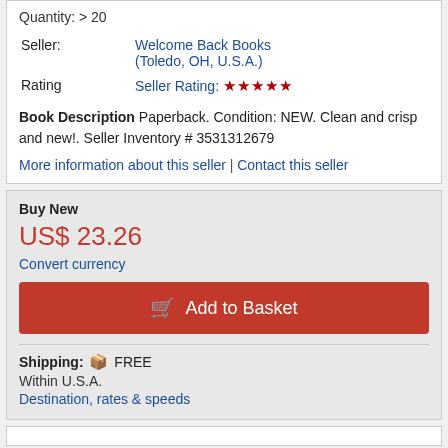Quantity: > 20
|  |  |
| --- | --- |
| Seller: | Welcome Back Books (Toledo, OH, U.S.A.) |
| Rating | Seller Rating: ★★★★★ |
Book Description Paperback. Condition: NEW. Clean and crisp and new!. Seller Inventory # 3531312679
More information about this seller | Contact this seller
Buy New
US$ 23.26
Convert currency
Add to Basket
Shipping: FREE Within U.S.A. Destination, rates & speeds